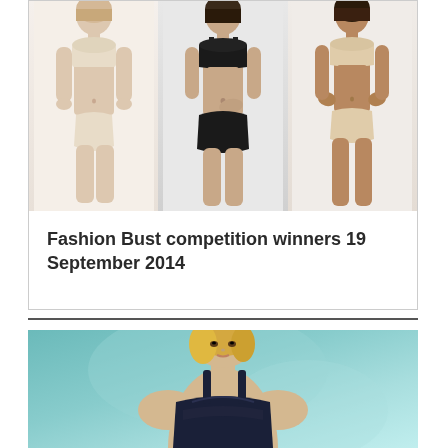[Figure (photo): Three female models in lingerie/swimwear posed side by side against a light background. Left model wears nude/cream strapless bra and matching bottoms; center model wears black strapless bra and black high-waist bottoms; right model wears cream/nude strapless bra and matching briefs.]
Fashion Bust competition winners 19 September 2014
[Figure (photo): Blonde female model in a dark navy/black sports bra or athletic top, shown from roughly waist up, against a teal/aqua background.]